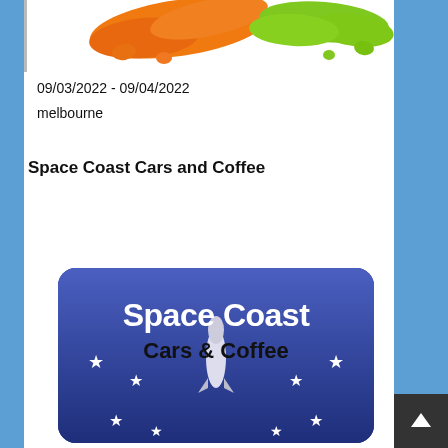[Figure (illustration): Orange and green splash/blob logo image at top of white panel]
09/03/2022 - 09/04/2022
melbourne
Space Coast Cars and Coffee
[Figure (logo): Space Coast Cars & Coffee logo on dark blue rounded-rectangle background with rocket and stars]